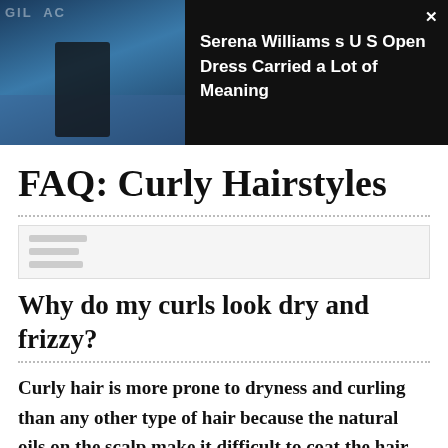[Figure (photo): Top banner ad with a photo of Serena Williams at the US Open on a tennis court, dark overlay background]
Serena Williams s U S Open Dress Carried a Lot of Meaning
FAQ: Curly Hairstyles
[Figure (other): Placeholder/thumbnail image box with gray lines]
Why do my curls look dry and frizzy?
Curly hair is more prone to dryness and curling than any other type of hair because the natural oils on the scalp make it difficult to coat the hair from root to tips. Excessive heat styling is also to blame. Using high